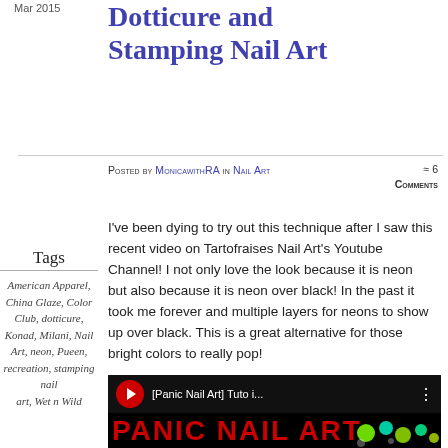Mar 2015
Dotticure and Stamping Nail Art
Posted by MonicawithRA in Nail Art ≈ 6 Comments
I've been dying to try out this technique after I saw this recent video on Tartofraises Nail Art's Youtube Channel! I not only love the look because it is neon but also because it is neon over black! In the past it took me forever and multiple layers for neons to show up over black. This is a great alternative for those bright colors to really pop!
Tags
American Apparel, China Glaze, Color Club, dotticure, Konad, Milani, Nail Art, neon, Pueen, recreation, stamping nail art, Wet n Wild
[Figure (screenshot): YouTube video thumbnail showing [Panic Nail Art] Tuto i... with red PANIC NAIL ART text and neon nail art dots on black background]